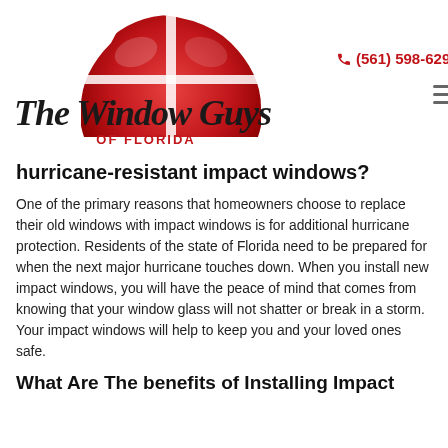[Figure (logo): The Window Guys of Florida logo with red semicircular window graphic and cursive/script text]
(561) 598-6295
hurricane-resistant impact windows?
One of the primary reasons that homeowners choose to replace their old windows with impact windows is for additional hurricane protection. Residents of the state of Florida need to be prepared for when the next major hurricane touches down. When you install new impact windows, you will have the peace of mind that comes from knowing that your window glass will not shatter or break in a storm. Your impact windows will help to keep you and your loved ones safe.
What Are The benefits of Installing Impact Windows and Impact Doors in Boca...